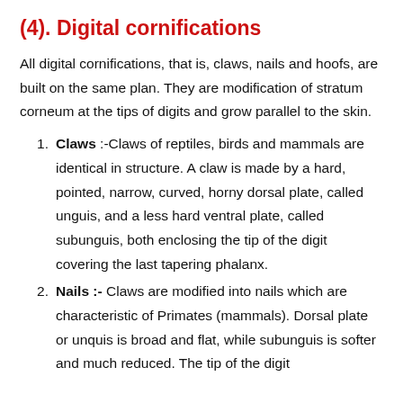(4). Digital cornifications
All digital cornifications, that is, claws, nails and hoofs, are built on the same plan. They are modification of stratum corneum at the tips of digits and grow parallel to the skin.
Claws :-Claws of reptiles, birds and mammals are identical in structure. A claw is made by a hard, pointed, narrow, curved, horny dorsal plate, called unguis, and a less hard ventral plate, called subunguis, both enclosing the tip of the digit covering the last tapering phalanx.
Nails :- Claws are modified into nails which are characteristic of Primates (mammals). Dorsal plate or unquis is broad and flat, while subunguis is softer and much reduced. The tip of the digit